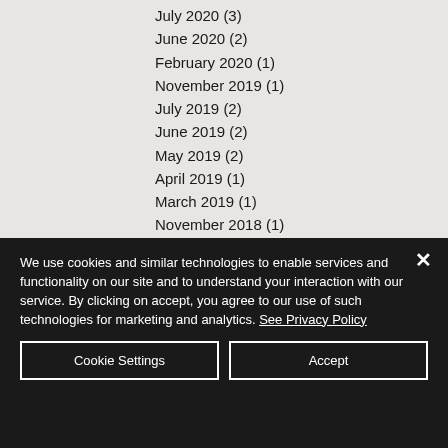July 2020 (3)
June 2020 (2)
February 2020 (1)
November 2019 (1)
July 2019 (2)
June 2019 (2)
May 2019 (2)
April 2019 (1)
March 2019 (1)
November 2018 (1)
September 2018 (3)
May 2018 (2)
August 2017 (1)
We use cookies and similar technologies to enable services and functionality on our site and to understand your interaction with our service. By clicking on accept, you agree to our use of such technologies for marketing and analytics. See Privacy Policy
Cookie Settings
Accept